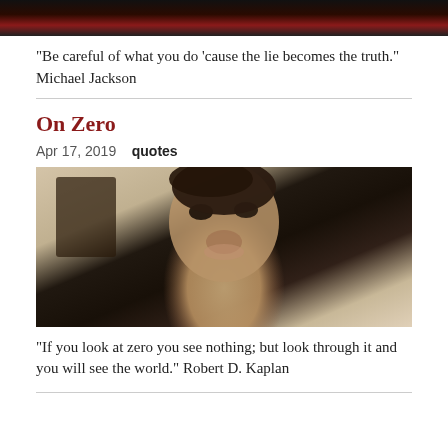[Figure (photo): Partial top of a photo, dark background with red and white colors, likely a performer]
“Be careful of what you do ‘cause the lie becomes the truth.” Michael Jackson
On Zero
Apr 17, 2019   quotes
[Figure (photo): Close-up photo of a middle-aged man with dark hair, wearing a light-colored shirt, in an indoor setting with framed art on the wall behind him]
“If you look at zero you see nothing; but look through it and you will see the world.” Robert D. Kaplan